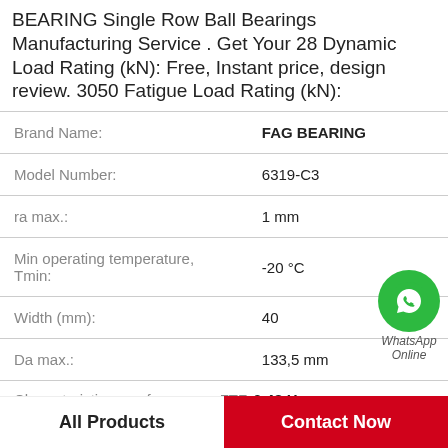BEARING Single Row Ball Bearings Manufacturing Service . Get Your 28 Dynamic Load Rating (kN): Free, Instant price, design review. 3050 Fatigue Load Rating (kN):
| Property | Value |
| --- | --- |
| Brand Name: | FAG BEARING |
| Model Number: | 6319-C3 |
| ra max.: | 1 mm |
| Min operating temperature, Tmin: | -20 °C |
| Width (mm): | 40 |
| Da max.: | 133,5 mm |
| Characteristic cage frequency, FTF: | 0.48 Hz |
[Figure (logo): WhatsApp Online green circle icon with phone handset, labeled WhatsApp Online]
All Products
Contact Now